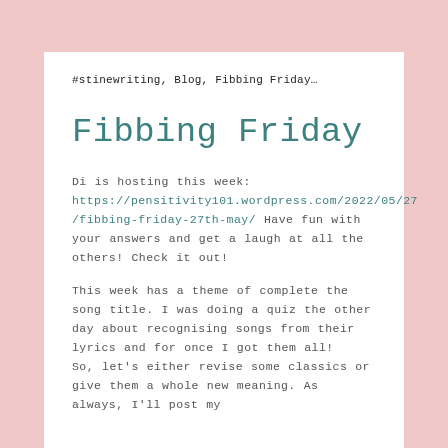#stinewriting, Blog, Fibbing Friday…
Fibbing Friday
Di is hosting this week: https://pensitivity101.wordpress.com/2022/05/27/fibbing-friday-27th-may/ Have fun with your answers and get a laugh at all the others! Check it out!
This week has a theme of complete the song title. I was doing a quiz the other day about recognising songs from their lyrics and for once I got them all! So, let's either revise some classics or give them a whole new meaning. As always, I'll post my